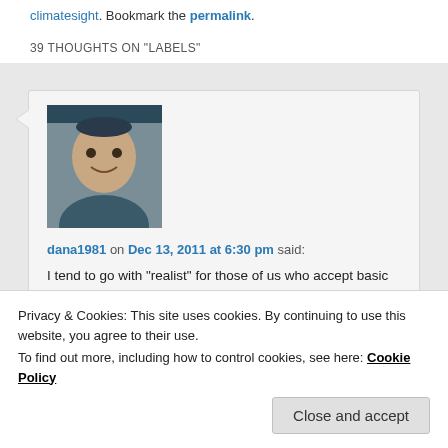climatesight. Bookmark the permalink.
39 THOUGHTS ON "LABELS"
[Figure (photo): Avatar photo of commenter dana1981, showing a young man smiling]
dana1981 on Dec 13, 2011 at 6:30 pm said:
I tend to go with “realist” for those of us who accept basic climate science.

Purveyors of climate misinformation are usually
Privacy & Cookies: This site uses cookies. By continuing to use this website, you agree to their use.
To find out more, including how to control cookies, see here: Cookie Policy
Close and accept